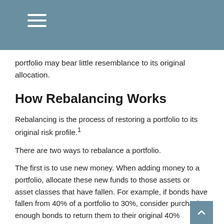portfolio may bear little resemblance to its original allocation.
How Rebalancing Works
Rebalancing is the process of restoring a portfolio to its original risk profile.¹
There are two ways to rebalance a portfolio.
The first is to use new money. When adding money to a portfolio, allocate these new funds to those assets or asset classes that have fallen. For example, if bonds have fallen from 40% of a portfolio to 30%, consider purchasing enough bonds to return them to their original 40% allocation. Diversification is an investment principle designed to manage risk. However, diversification does not